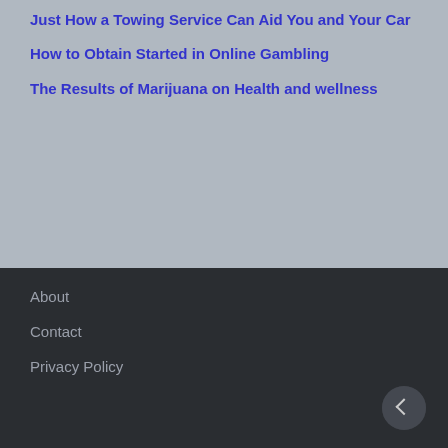Just How a Towing Service Can Aid You and Your Car
How to Obtain Started in Online Gambling
The Results of Marijuana on Health and wellness
About
Contact
Privacy Policy